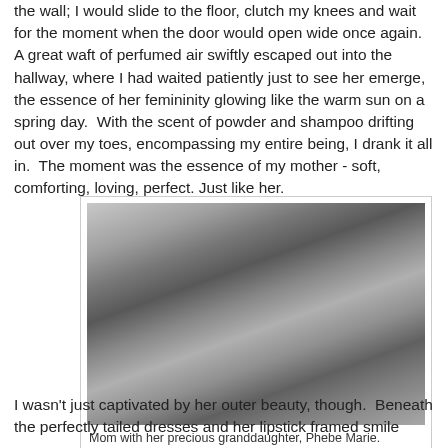the wall; I would slide to the floor, clutch my knees and wait for the moment when the door would open wide once again. A great waft of perfumed air swiftly escaped out into the hallway, where I had waited patiently just to see her emerge, the essence of her femininity glowing like the warm sun on a spring day.  With the scent of powder and shampoo drifting out over my toes, encompassing my entire being, I drank it all in.  The moment was the essence of my mother - soft, comforting, loving, perfect. Just like her.
[Figure (photo): Black and white photograph of a woman (mom) smiling and holding a baby (granddaughter Phebe Marie). There are photos pinned to a wall in the background.]
Mom with her precious granddaughter, Phebe Marie.
I wasn't just captivated by her outer beauty, though.  Beneath the perfectly tailed dresses and her lipstick framed smile